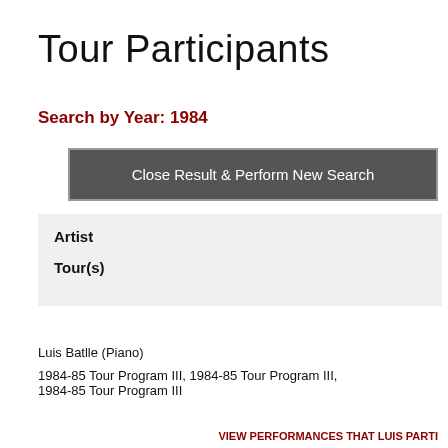Tour Participants
Search by Year: 1984
Close Result & Perform New Search
| Artist | Tour(s) |
| --- | --- |
Luis Batlle (Piano)
1984-85 Tour Program III, 1984-85 Tour Program III, 1984-85 Tour Program III
VIEW PERFORMANCES THAT LUIS PARTI